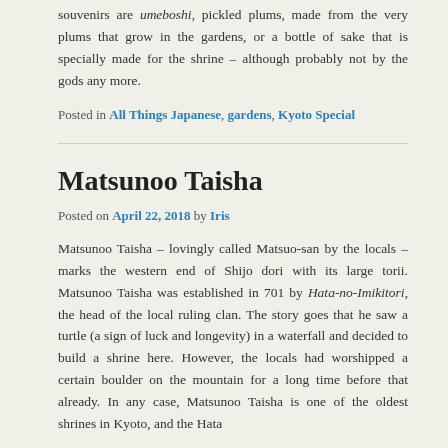souvenirs are umeboshi, pickled plums, made from the very plums that grow in the gardens, or a bottle of sake that is specially made for the shrine – although probably not by the gods any more.
Posted in All Things Japanese, gardens, Kyoto Special
Matsunoo Taisha
Posted on April 22, 2018 by Iris
Matsunoo Taisha – lovingly called Matsuo-san by the locals – marks the western end of Shijo dori with its large torii. Matsunoo Taisha was established in 701 by Hata-no-Imikitori, the head of the local ruling clan. The story goes that he saw a turtle (a sign of luck and longevity) in a waterfall and decided to build a shrine here. However, the locals had worshipped a certain boulder on the mountain for a long time before that already. In any case, Matsunoo Taisha is one of the oldest shrines in Kyoto, and the Hata